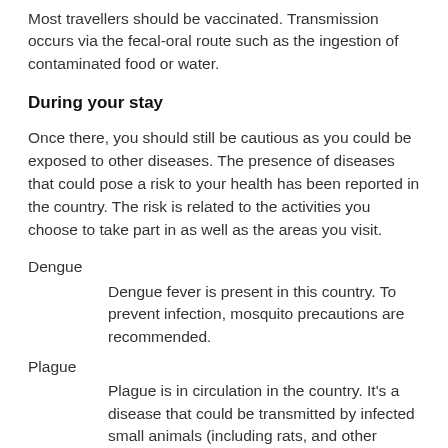Most travellers should be vaccinated. Transmission occurs via the fecal-oral route such as the ingestion of contaminated food or water.
During your stay
Once there, you should still be cautious as you could be exposed to other diseases. The presence of diseases that could pose a risk to your health has been reported in the country. The risk is related to the activities you choose to take part in as well as the areas you visit.
Dengue
    Dengue fever is present in this country. To prevent infection, mosquito precautions are recommended.
Plague
    Plague is in circulation in the country. It's a disease that could be transmitted by infected small animals (including rats, and other rodents),